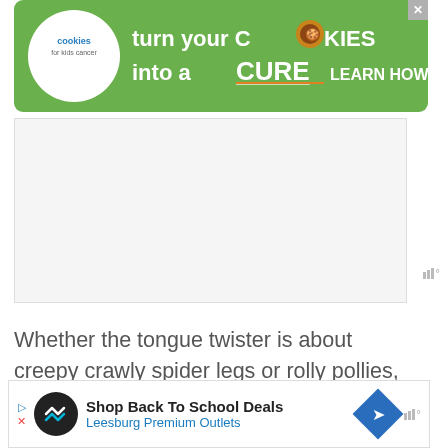[Figure (screenshot): Green banner advertisement for 'cookies for kids cancer' - turn your cookies into a cure, learn how]
[Figure (screenshot): Gray placeholder sidebar/widget box with weather icon]
Whether the tongue twister is about creepy crawly spider legs or rolly pollies, make a game of some fun tongue twisters. My favorite is about the black spider and snakes!
Learn more: 100x hahaha
[Figure (screenshot): Bottom advertisement: Shop Back To School Deals - Leesburg Premium Outlets]